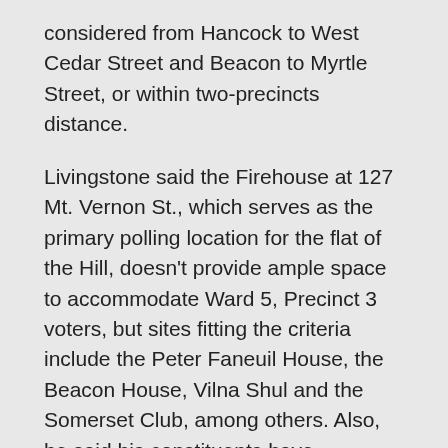considered from Hancock to West Cedar Street and Beacon to Myrtle Street, or within two-precincts distance.
Livingstone said the Firehouse at 127 Mt. Vernon St., which serves as the primary polling location for the flat of the Hill, doesn't provide ample space to accommodate Ward 5, Precinct 3 voters, but sites fitting the criteria include the Peter Faneuil House, the Beacon House, Vilna Shul and the Somerset Club, among others. Also, he said his constituents have suggested other potential voting sites, such as the Frog Pond on the Boston Common, the Boston Athenaeum and 74 Joy St.
“People consider it a privilege to vote at the State House... but we want to be aware of other options in neighborhood,” Livingstone said. “Voting is so